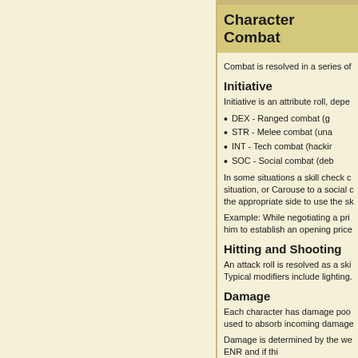Character Combat
Combat is resolved in a series of
Initiative
Initiative is an attribute roll, depe
DEX - Ranged combat (g
STR - Melee combat (una
INT - Tech combat (hacki
SOC - Social combat (deb
In some situations a skill check c situation, or Carouse to a social c the appropriate side to use the sk
Example: While negotiating a pri him to establish an opening price
Hitting and Shooting
An attack roll is resolved as a sk Typical modifiers include lighting.
Damage
Each character has damage poo used to absorb incoming damage
Damage is determined by the we ENR and if thi